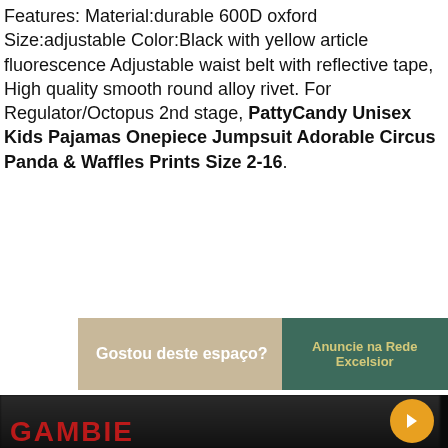Features: Material:durable 600D oxford Size:adjustable Color:Black with yellow article fluorescence Adjustable waist belt with reflective tape, High quality smooth round alloy rivet. For Regulator/Octopus 2nd stage, PattyCandy Unisex Kids Pajamas Onepiece Jumpsuit Adorable Circus Panda & Waffles Prints Size 2-16.
[Figure (infographic): Advertisement banner: left side tan/beige background with bold white text 'Gostou deste espaço?', right side dark green background with yellow-green text 'Anuncie na Rede Excelsior']
[Figure (screenshot): Radio player bar: black background with white circle icon on left, 'Radio Excelsior 106,1 FM' text in white, speaker icon, and blue block on right with phone icon]
[Figure (photo): Dark blurry photo with orange circular play button on right side and red text 'GAMBIE' partially visible at bottom]